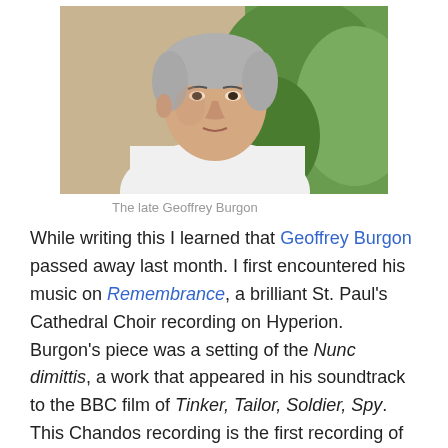[Figure (photo): Portrait photo of Geoffrey Burgon, a middle-aged man with grey hair wearing a white shirt, photographed outdoors against a stone wall and green foliage.]
The late Geoffrey Burgon
While writing this I learned that Geoffrey Burgon passed away last month. I first encountered his music on Remembrance, a brilliant St. Paul's Cathedral Choir recording on Hyperion. Burgon's piece was a setting of the Nunc dimittis, a work that appeared in his soundtrack to the BBC film of Tinker, Tailor, Soldier, Spy. This Chandos recording is the first recording of his orchestral music that I've encountered.